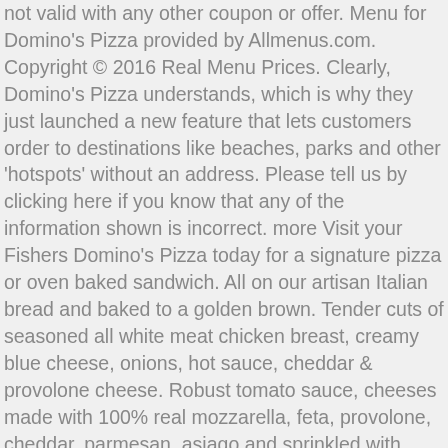not valid with any other coupon or offer. Menu for Domino's Pizza provided by Allmenus.com. Copyright © 2016 Real Menu Prices. Clearly, Domino's Pizza understands, which is why they just launched a new feature that lets customers order to destinations like beaches, parks and other 'hotspots' without an address. Please tell us by clicking here if you know that any of the information shown is incorrect. more Visit your Fishers Domino's Pizza today for a signature pizza or oven baked sandwich. All on our artisan Italian bread and baked to a golden brown. Tender cuts of seasoned all white meat chicken breast, creamy blue cheese, onions, hot sauce, cheddar & provolone cheese. Robust tomato sauce, cheeses made with 100% real mozzarella, feta, provolone, cheddar, parmesan, asiago and sprinkled with oregano on a parmesan and asiago crust. Check with this restaurant for current pricing and menu information. Domino's Pizza Menu and Prices. Name: DOMINO'S PIZZA Type: Restaurant Address: 1468 WESTCHESTER AVENUE, NY 10472 Phone: 718-893-1777 Last inspection: Sep 17, 2014 Violation Points (the lower the better) 4 Add photo of this business × Description: We